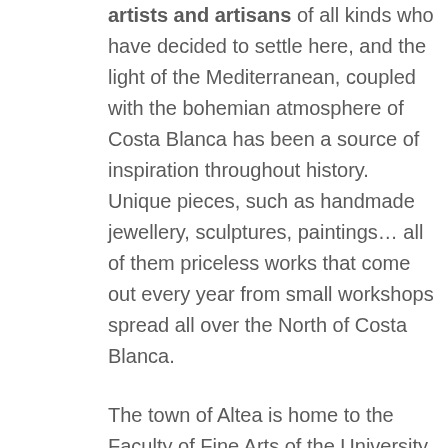artists and artisans of all kinds who have decided to settle here, and the light of the Mediterranean, coupled with the bohemian atmosphere of Costa Blanca has been a source of inspiration throughout history. Unique pieces, such as handmade jewellery, sculptures, paintings... all of them priceless works that come out every year from small workshops spread all over the North of Costa Blanca.
The town of Altea is home to the Faculty of Fine Arts of the University of Alicante and is considered one of the artistic and cultural capitals of the Valencian Community, a home for poets, writers, painters and all kinds of artists.
There is also room for other seasonal activities: theatre, music and various art exhibitions in the numerous cultural centres such as the Palau de Altea, el Auditori Teulada-Moraira, or the Espaid'ArtContemporani Salvador Soria, among